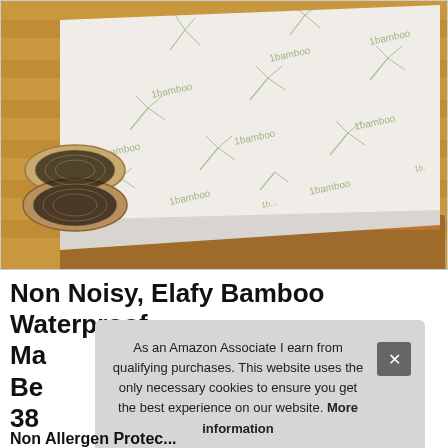[Figure (photo): A white bamboo-print mattress pad/topper with green bamboo leaf and 'bamboo' text pattern, displayed on a wooden bed frame with two round woven cushions on the left, wooden floor background.]
Non Noisy, Elafy Bamboo Waterproof Ma Be 38
As an Amazon Associate I earn from qualifying purchases. This website uses the only necessary cookies to ensure you get the best experience on our website. More information
Non Allergen Protec...